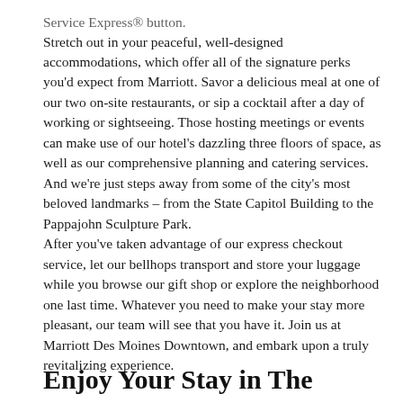Service Express® button. Stretch out in your peaceful, well-designed accommodations, which offer all of the signature perks you'd expect from Marriott. Savor a delicious meal at one of our two on-site restaurants, or sip a cocktail after a day of working or sightseeing. Those hosting meetings or events can make use of our hotel's dazzling three floors of space, as well as our comprehensive planning and catering services. And we're just steps away from some of the city's most beloved landmarks – from the State Capitol Building to the Pappajohn Sculpture Park. After you've taken advantage of our express checkout service, let our bellhops transport and store your luggage while you browse our gift shop or explore the neighborhood one last time. Whatever you need to make your stay more pleasant, our team will see that you have it. Join us at Marriott Des Moines Downtown, and embark upon a truly revitalizing experience.
Enjoy Your Stay in The